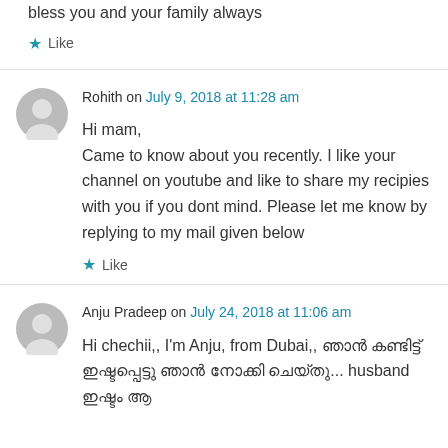bless you and your family always
★ Like
Rohith on July 9, 2018 at 11:28 am
Hi mam,
Came to know about you recently. I like your channel on youtube and like to share my recipies with you if you dont mind. Please let me know by replying to my mail given below
★ Like
Anju Pradeep on July 24, 2018 at 11:06 am
Hi chechii,, I'm Anju, from Dubai,, ഞാൻ കണ്ടിട്ട് ഇഷ്ടപ്പെട്ടു ഞാൻ നോക്കി ചെയ്തു... husband ഇഷ്ടം ആ